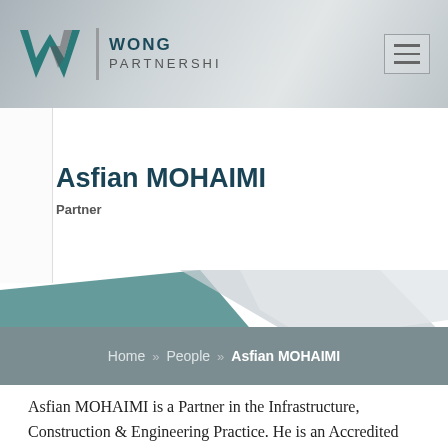Wong Partnership
Asfian MOHAIMI
Partner
Home » People » Asfian MOHAIMI
Asfian MOHAIMI is a Partner in the Infrastructure, Construction & Engineering Practice. He is an Accredited Specialist in Building and Construction Law appointed by the Singapore Academy of Law.